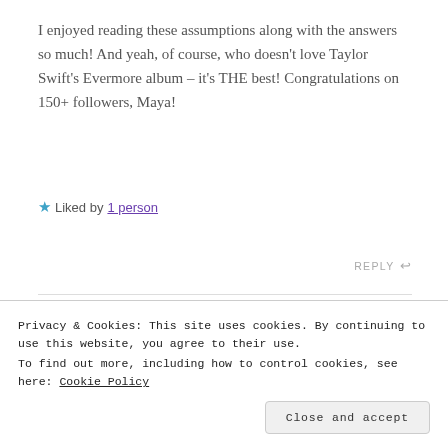I enjoyed reading these assumptions along with the answers so much! And yeah, of course, who doesn't love Taylor Swift's Evermore album – it's THE best! Congratulations on 150+ followers, Maya!
★ Liked by 1 person
REPLY ↩
Maya Rajesh says:
Privacy & Cookies: This site uses cookies. By continuing to use this website, you agree to their use.
To find out more, including how to control cookies, see here: Cookie Policy